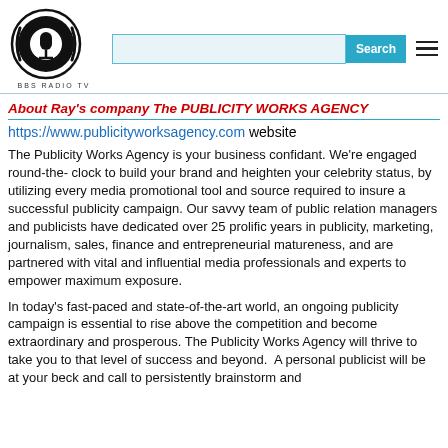[Figure (logo): BBS Radio TV logo: circular black and white emblem with microphone/speaker design and text BBS RADIO TV below]
About Ray's company The PUBLICITY WORKS AGENCY
https://www.publicityworksagency.com website
The Publicity Works Agency is your business confidant. We're engaged round-the- clock to build your brand and heighten your celebrity status, by utilizing every media promotional tool and source required to insure a successful publicity campaign. Our savvy team of public relation managers and publicists have dedicated over 25 prolific years in publicity, marketing, journalism, sales, finance and entrepreneurial matureness, and are partnered with vital and influential media professionals and experts to empower maximum exposure.
In today's fast-paced and state-of-the-art world, an ongoing publicity campaign is essential to rise above the competition and become extraordinary and prosperous. The Publicity Works Agency will thrive to take you to that level of success and beyond. A personal publicist will be at your beck and call to persistently brainstorm and